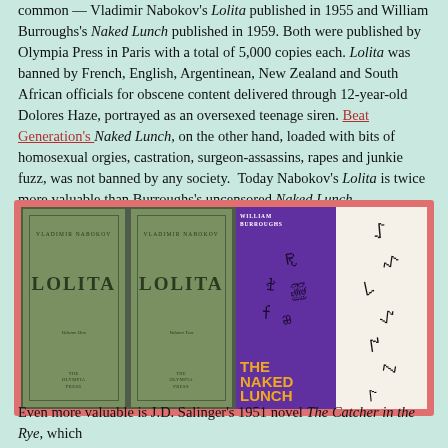common — Vladimir Nabokov's Lolita published in 1955 and William Burroughs's Naked Lunch published in 1959. Both were published by Olympia Press in Paris with a total of 5,000 copies each. Lolita was banned by French, English, Argentinean, New Zealand and South African officials for obscene content delivered through 12-year-old Dolores Haze, portrayed as an oversexed teenage siren. Beat Generation's Naked Lunch, on the other hand, loaded with bits of homosexual orgies, castration, surgeon-assassins, rapes and junkie fuzz, was not banned by any society. Today Nabokov's Lolita is twice more valuable than Burroughs's uncensored Naked Lunch.
[Figure (photo): Book covers of Lolita Volume One and Volume Two by Vladimir Nabokov (Olympia Press, green covers) and The Naked Lunch by William Burroughs (purple and white cover), displayed side by side in a red/pink bordered frame.]
Even more valuable is J.D. Salinger's 1951 novel The Catcher in the Rye, which